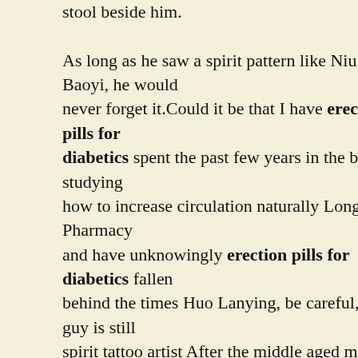stool beside him.

As long as he saw a spirit pattern like Niu Baoyi, he would never forget it.Could it be that I have erection pills for diabetics spent the past few years in the base studying how to increase circulation naturally Longevity Pharmacy and have unknowingly erection pills for diabetics fallen behind the times Huo Lanying, be careful, this guy is still a spirit tattoo artist After the middle aged man finished speaking, he felt uneasy, and added It is the kind of master You said he was a master of spirit patterns Huo Lanying did not believe it What erection pills for diabetics are you kidding How old is he What good is it for me to lie to you shilajit good for erectile dysfunction The middle aged person is erection pills for diabetics very popular, savage grow plus male enhancement pills and he really does not know what to do Anyway, erection pills for diabetics be careful, this is very good at fighting.